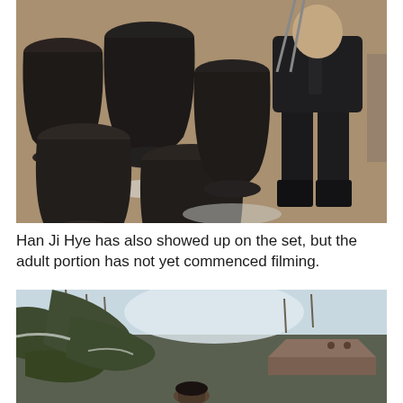[Figure (photo): Outdoor scene showing several large dark ceramic jars/urns arranged on sandy ground with patches of snow, and a person dressed in all black clothing standing to the right side.]
Han Ji Hye has also showed up on the set, but the adult portion has not yet commenced filming.
[Figure (photo): Outdoor winter scene showing pine tree branches in the foreground with snow, traditional Korean-style building rooftop visible in background, bare trees and sky visible, and a person partially visible at the bottom center.]